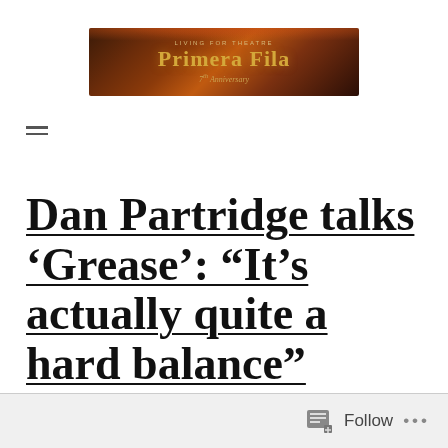[Figure (logo): Primera Fila theatre blog banner with dark reddish-brown background, text 'Living for Theatre', 'PRIMERA FILA' in gold, '7th Anniversary' in italic script]
[Figure (other): Hamburger menu icon with two horizontal lines]
Dan Partridge talks 'Grease': “It’s actually quite a hard balance”
Follow ...